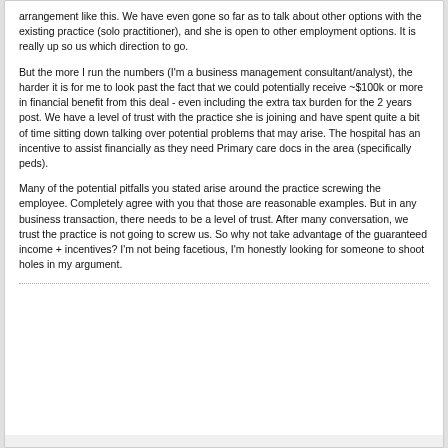arrangement like this. We have even gone so far as to talk about other options with the existing practice (solo practitioner), and she is open to other employment options. It is really up so us which direction to go.
But the more I run the numbers (I'm a business management consultant/analyst), the harder it is for me to look past the fact that we could potentially receive ~$100k or more in financial benefit from this deal - even including the extra tax burden for the 2 years post. We have a level of trust with the practice she is joining and have spent quite a bit of time sitting down talking over potential problems that may arise. The hospital has an incentive to assist financially as they need Primary care docs in the area (specifically peds).
Many of the potential pitfalls you stated arise around the practice screwing the employee. Completely agree with you that those are reasonable examples. But in any business transaction, there needs to be a level of trust. After many conversation, we trust the practice is not going to screw us. So why not take advantage of the guaranteed income + incentives? I'm not being facetious, I'm honestly looking for someone to shoot holes in my argument.